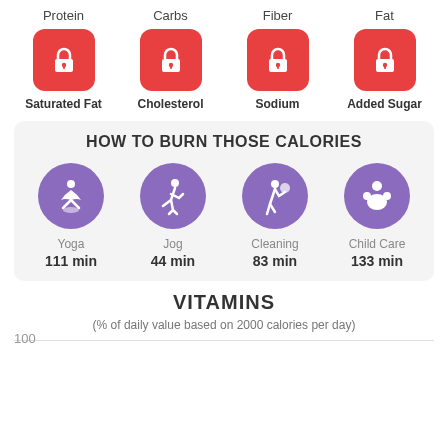Protein
Carbs
Fiber
Fat
[Figure (infographic): Four red lock icons representing locked nutrient data for Saturated Fat, Cholesterol, Sodium, and Added Sugar]
Saturated Fat
Cholesterol
Sodium
Added Sugar
HOW TO BURN THOSE CALORIES
[Figure (infographic): Four purple circles with white activity icons: Yoga 111 min, Jog 44 min, Cleaning 83 min, Child Care 133 min]
Yoga
111 min
Jog
44 min
Cleaning
83 min
Child Care
133 min
VITAMINS
(% of daily value based on 2000 calories per day)
100